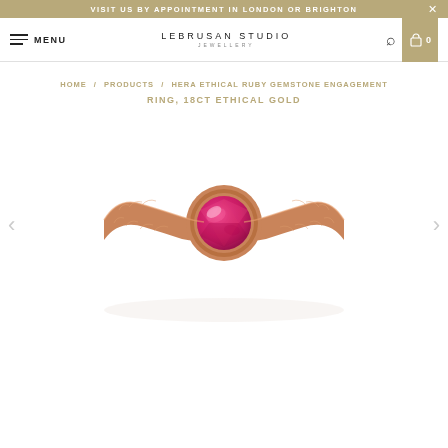VISIT US BY APPOINTMENT IN LONDON OR BRIGHTON
[Figure (screenshot): Website navigation bar with hamburger menu, LEBRUSAN STUDIO JEWELLERY logo, search icon, and shopping cart showing 0 items]
HOME / PRODUCTS / HERA ETHICAL RUBY GEMSTONE ENGAGEMENT RING, 18CT ETHICAL GOLD
HERA ETHICAL RUBY GEMSTONE ENGAGEMENT RING, 18CT ETHICAL GOLD
[Figure (photo): Rose gold ring with a bezel-set round ruby gemstone, featuring a textured/engraved band, displayed on white background]